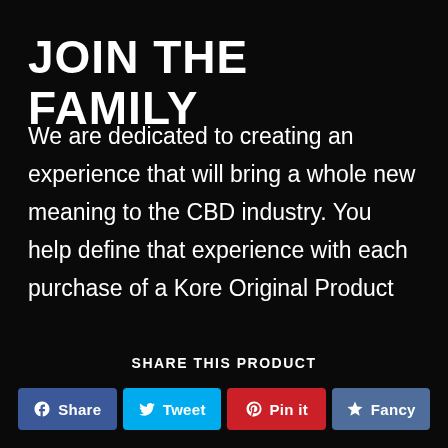JOIN THE FAMILY
We are dedicated to creating an experience that will bring a whole new meaning to the CBD industry. You help define that experience with each purchase of a Kore Original Product
SHARE THIS PRODUCT
Share  Tweet  Pin it  Fancy